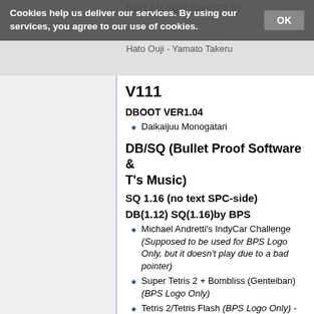DB(1.61) SQ(1.25)by T's 01 | Hato Ouji - Yamato Takeru
Cookies help us deliver our services. By using our services, you agree to our use of cookies. OK
V111
DBOOT VER1.04
Daikaijuu Monogatari
DB/SQ (Bullet Proof Software & T's Music)
SQ 1.16 (no text SPC-side)
DB(1.12) SQ(1.16)by BPS
Michael Andretti's IndyCar Challenge (Supposed to be used for BPS Logo Only, but it doesn't play due to a bad pointer)
Super Tetris 2 + Bombliss (Genteiban) (BPS Logo Only)
Tetris 2/Tetris Flash (BPS Logo Only) - exists in all versions, but used in